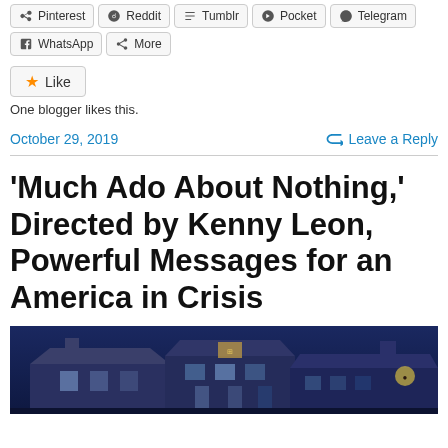Pinterest
Reddit
Tumblr
Pocket
Telegram
WhatsApp
More
Like
One blogger likes this.
October 29, 2019
Leave a Reply
‘Much Ado About Nothing,’ Directed by Kenny Leon, Powerful Messages for an America in Crisis
[Figure (photo): Night-time exterior photo of a building rooftop against a dark blue sky, with illuminated windows and architectural details visible.]